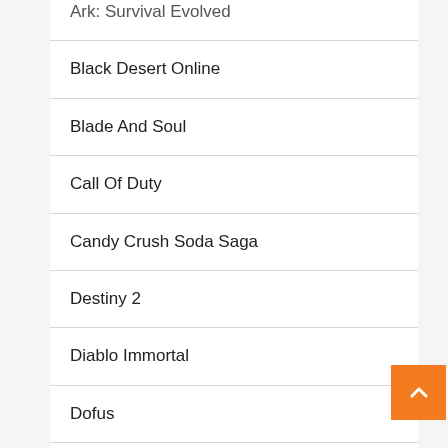Ark: Survival Evolved
Black Desert Online
Blade And Soul
Call Of Duty
Candy Crush Soda Saga
Destiny 2
Diablo Immortal
Dofus
Dragon Ball Legends
Dragon Ball Z:dokkan Battle
Dungeon Fighter Online
Elder Ring (clipped)